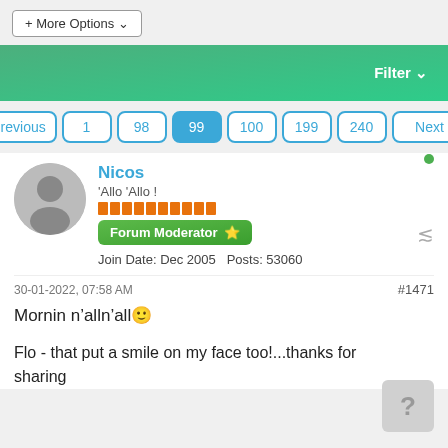[Figure (screenshot): Forum + More Options button at top]
[Figure (screenshot): Green filter bar with Filter dropdown]
Pagination: Previous 1 98 99 100 199 240 Next
[Figure (screenshot): User avatar (grey silhouette)]
Nicos
'Allo 'Allo !
Forum Moderator ⭐
Join Date: Dec 2005   Posts: 53060
30-01-2022, 07:58 AM
#1471
Mornin n'alln'all🙂
Flo - that put a smile on my face too!...thanks for sharing